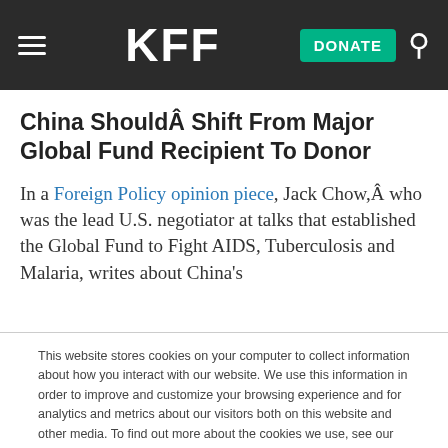KFF
China ShouldÂ Shift From Major Global Fund Recipient To Donor
In a Foreign Policy opinion piece, Jack Chow,Â who was the lead U.S. negotiator at talks that established the Global Fund to Fight AIDS, Tuberculosis and Malaria, writes about China’s
This website stores cookies on your computer to collect information about how you interact with our website. We use this information in order to improve and customize your browsing experience and for analytics and metrics about our visitors both on this website and other media. To find out more about the cookies we use, see our Privacy Policy.
Accept